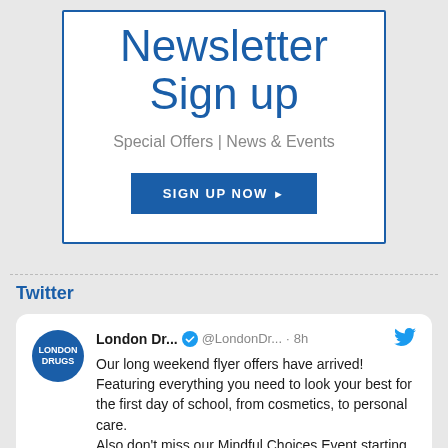Newsletter Sign up
Special Offers | News & Events
SIGN UP NOW ▶
Twitter
London Dr... @LondonDr... · 8h
Our long weekend flyer offers have arrived! Featuring everything you need to look your best for the first day of school, from cosmetics, to personal care. Also don't miss our Mindful Choices Event starting today, featuring healthy